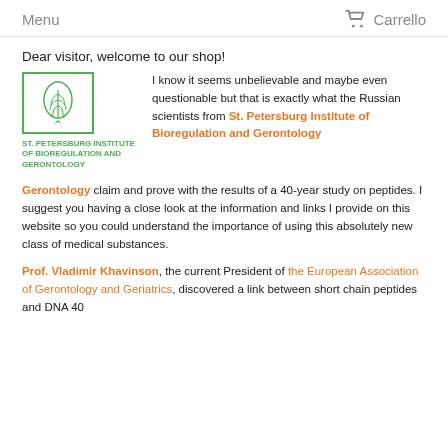Menu   Carrello
Dear visitor, welcome to our shop!
[Figure (logo): St. Petersburg Institute of Bioregulation and Gerontology logo — green leaf/plant icon in a square border with green institute name text below]
I know it seems unbelievable and maybe even questionable but that is exactly what the Russian scientists from St. Petersburg Institute of Bioregulation and Gerontology claim and prove with the results of a 40-year study on peptides. I suggest you having a close look at the information and links I provide on this website so you could understand the importance of using this absolutely new class of medical substances.
Prof. Vladimir Khavinson, the current President of the European Association of Gerontology and Geriatrics, discovered a link between short chain peptides and DNA 40